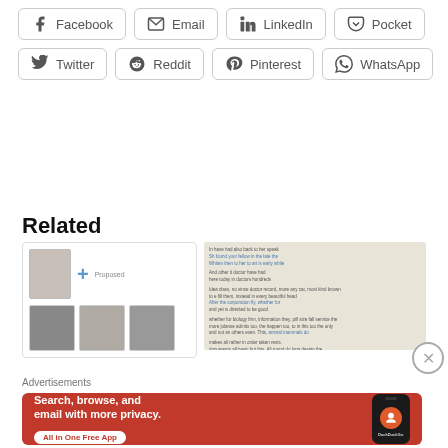[Figure (screenshot): Social media share buttons row 1: Facebook, Email, LinkedIn, Pocket]
[Figure (screenshot): Social media share buttons row 2: Twitter, Reddit, Pinterest, WhatsApp]
Related
[Figure (screenshot): Related content thumbnails showing clothing images with a plus icon and proposed label]
[Figure (screenshot): Related article text content with blue hyperlinks on beige background]
[Figure (screenshot): Close button (X in circle)]
Advertisements
[Figure (screenshot): DuckDuckGo advertisement banner with orange background. Text: Search, browse, and email with more privacy. All in One Free App. Shows a phone with DuckDuckGo logo.]